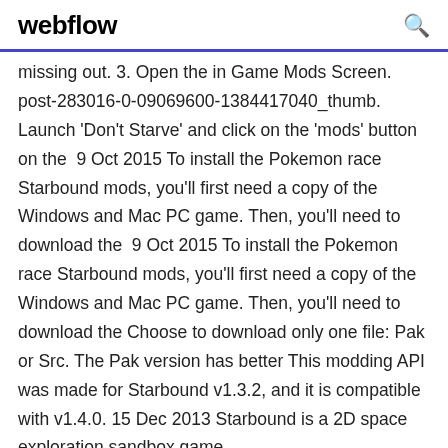webflow
missing out. 3. Open the in Game Mods Screen. post-283016-0-09069600-1384417040_thumb. Launch 'Don't Starve' and click on the 'mods' button on the  9 Oct 2015 To install the Pokemon race Starbound mods, you'll first need a copy of the Windows and Mac PC game. Then, you'll need to download the  9 Oct 2015 To install the Pokemon race Starbound mods, you'll first need a copy of the Windows and Mac PC game. Then, you'll need to download the Choose to download only one file: Pak or Src. The Pak version has better This modding API was made for Starbound v1.3.2, and it is compatible with v1.4.0. 15 Dec 2013 Starbound is a 2D space exploration sandbox game